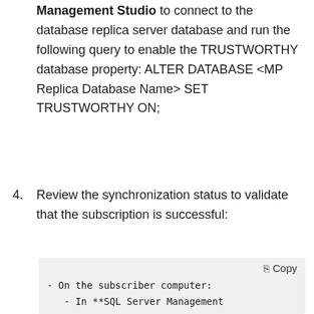Management Studio to connect to the database replica server database and run the following query to enable the TRUSTWORTHY database property: ALTER DATABASE <MP Replica Database Name> SET TRUSTWORTHY ON;
4. Review the synchronization status to validate that the subscription is successful:
[Figure (screenshot): Code box with Copy button and code text: '- On the subscriber computer:' followed by '- In **SQL Server Management']